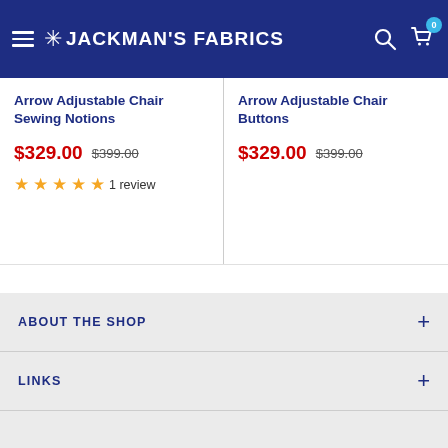Jackman's Fabrics
Arrow Adjustable Chair Sewing Notions
$329.00  $399.00
★★★★★ 1 review
Arrow Adjustable Chair Buttons
$329.00  $399.00
ABOUT THE SHOP
LINKS
Follow Us